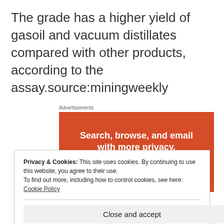The grade has a higher yield of gasoil and vacuum distillates compared with other products, according to the assay.source:miningweekly
Advertisements
[Figure (screenshot): Orange DuckDuckGo advertisement banner with text 'Search, browse, and email with more privacy.' and a button 'All in One Free App']
Privacy & Cookies: This site uses cookies. By continuing to use this website, you agree to their use.
To find out more, including how to control cookies, see here:
Cookie Policy
Close and accept